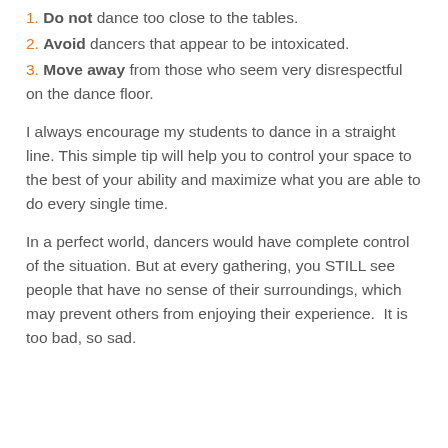1. Do not dance too close to the tables.
2. Avoid dancers that appear to be intoxicated.
3. Move away from those who seem very disrespectful on the dance floor.
I always encourage my students to dance in a straight line. This simple tip will help you to control your space to the best of your ability and maximize what you are able to do every single time.
In a perfect world, dancers would have complete control of the situation. But at every gathering, you STILL see people that have no sense of their surroundings, which may prevent others from enjoying their experience.  It is too bad, so sad.